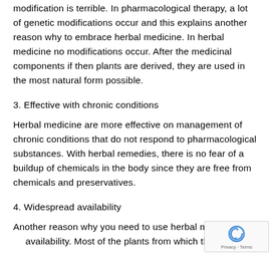modification is terrible. In pharmacological therapy, a lot of genetic modifications occur and this explains another reason why to embrace herbal medicine. In herbal medicine no modifications occur. After the medicinal components if then plants are derived, they are used in the most natural form possible.
3. Effective with chronic conditions
Herbal medicine are more effective on management of chronic conditions that do not respond to pharmacological substances. With herbal remedies, there is no fear of a buildup of chemicals in the body since they are free from chemicals and preservatives.
4. Widespread availability
Another reason why you need to use herbal medic… availability. Most of the plants from which the herbal